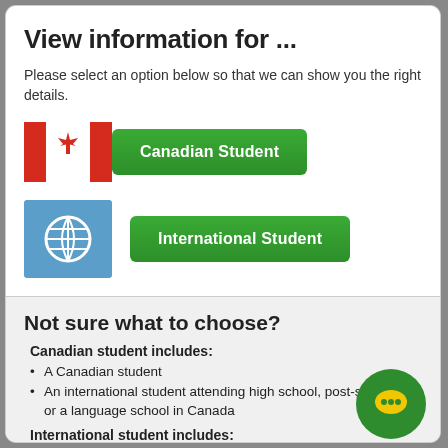View information for ...
Please select an option below so that we can show you the right details.
[Figure (illustration): Canadian flag icon next to green 'Canadian Student' button]
[Figure (illustration): Globe icon on blue background next to green 'International Student' button]
Not sure what to choose?
Canadian student includes:
A Canadian student
An international student attending high school, post-secondary, or a language school in Canada
International student includes: